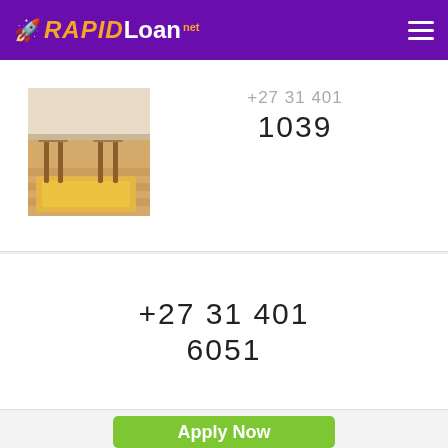[Figure (logo): RapidLoan.net logo with rocket icon on purple header bar]
[Figure (photo): Photo of a room with wooden flooring and a rug near chairs]
+27 31 401 1039
+27 31 401 6051
Apply Now
Applying does NOT affect your credit score! No credit check to apply.